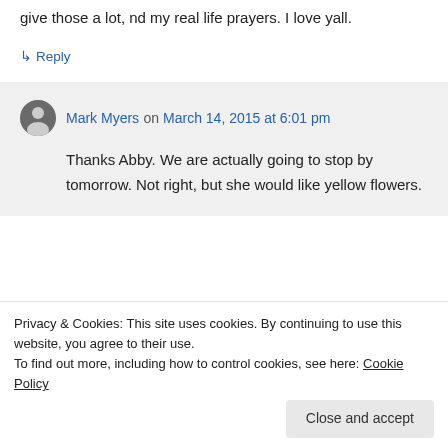give those a lot, nd my real life prayers. I love yall.
↳ Reply
Mark Myers on March 14, 2015 at 6:01 pm
Thanks Abby. We are actually going to stop by tomorrow. Not right, but she would like yellow flowers.
Privacy & Cookies: This site uses cookies. By continuing to use this website, you agree to their use. To find out more, including how to control cookies, see here: Cookie Policy
Close and accept